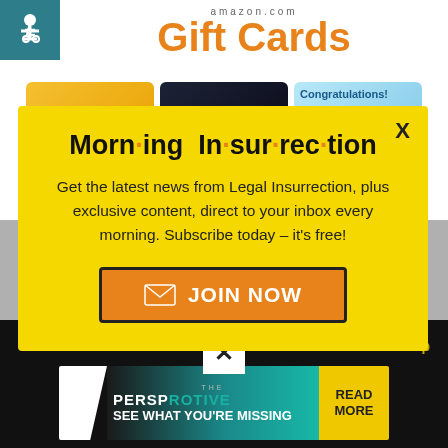[Figure (screenshot): Amazon.com Gift Cards page with accessibility icon, title, and gift card thumbnails (happy birthday, amazonkindle, congratulations)]
Morn·ing In·sur·rec·tion
Get the latest news from Legal Insurrection, plus exclusive content, direct to your inbox every morning. Subscribe today – it's free!
JOIN NOW
[Figure (screenshot): Bottom black bar with X close button, Back to Top link, and The Perspective advertisement banner reading SEE WHAT YOU'RE MISSING with READ MORE button]